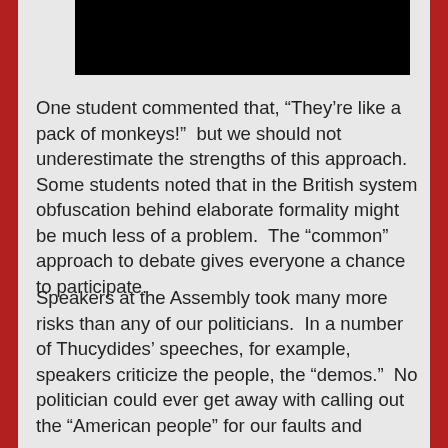[Figure (photo): A partially visible black photograph/image at the top of the page]
One student commented that, “They’re like a pack of monkeys!”  but we should not underestimate the strengths of this approach.  Some students noted that in the British system obfuscation behind elaborate formality might be much less of a problem.  The “common” approach to debate gives everyone a chance to participate.
Speakers at the Assembly took many more risks than any of our politicians.  In a number of Thucydides’ speeches, for example, speakers criticize the people, the “demos.”  No politician could ever get away with calling out the “American people” for our faults and